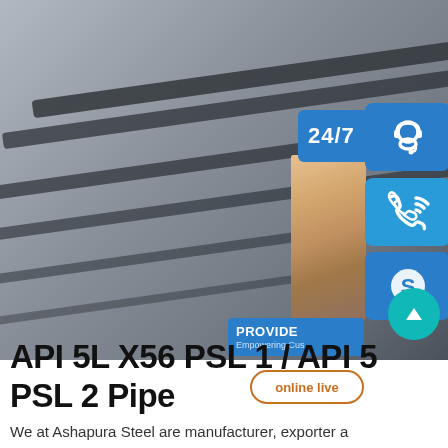[Figure (photo): Steel pipe/rail close-up photo showing metallic surface with diagonal lines, grey tones]
[Figure (infographic): 24/7 customer support sidebar with contact icon, phone icon, Skype icon, agent photo, PROVIDE branding, and online live button]
API 5L X56 PSL 1 / API 5L X56 PSL 2 Pipe
We at Ashapura Steel are manufacturer, exporter and supplier of a qualitative range of Carbon API 5L X56 PSL 1 Line Pipes and API 5L X56 PSL 2 Carbon Steel Line Pipes in Mumbai, India, that is being designed as per the national and international standard quality